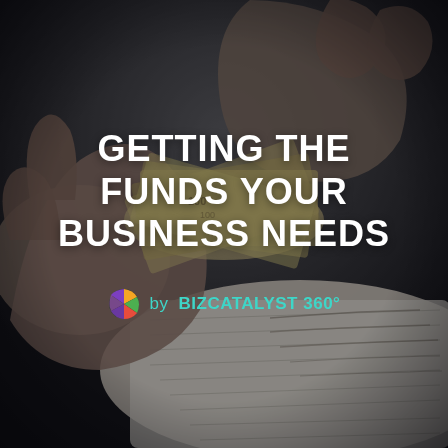[Figure (photo): Dark photograph of hands counting dollar bills over an open notebook/ledger, dark moody background]
GETTING THE FUNDS YOUR BUSINESS NEEDS
by BIZCATALYST 360°